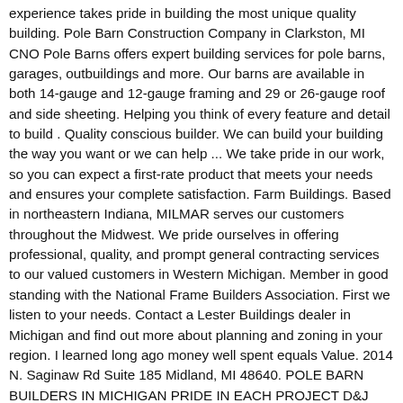experience takes pride in building the most unique quality building. Pole Barn Construction Company in Clarkston, MI CNO Pole Barns offers expert building services for pole barns, garages, outbuildings and more. Our barns are available in both 14-gauge and 12-gauge framing and 29 or 26-gauge roof and side sheeting. Helping you think of every feature and detail to build . Quality conscious builder. We can build your building the way you want or we can help ... We take pride in our work, so you can expect a first-rate product that meets your needs and ensures your complete satisfaction. Farm Buildings. Based in northeastern Indiana, MILMAR serves our customers throughout the Midwest. We pride ourselves in offering professional, quality, and prompt general contracting services to our valued customers in Western Michigan. Member in good standing with the National Frame Builders Association. First we listen to your needs. Contact a Lester Buildings dealer in Michigan and find out more about planning and zoning in your region. I learned long ago money well spent equals Value. 2014 N. Saginaw Rd Suite 185 Midland, MI 48640. POLE BARN BUILDERS IN MICHIGAN PRIDE IN EACH PROJECT D&J Building specializes in the quality construction of state-of-the-art pole barns all over Michigan. Looking to build a pole barn in Michigan? Built for outdoorsmen by outdoorsmen, our buildings are tough and long-lasting. In-house licensed engineering team to make sure your building is designed to meet relevant codes. Michigan's Best Custom-Built Pole Barns, Post Frame Buildings, and Garages Burly Oak Builders specializes in building custom post-frame structures, also known